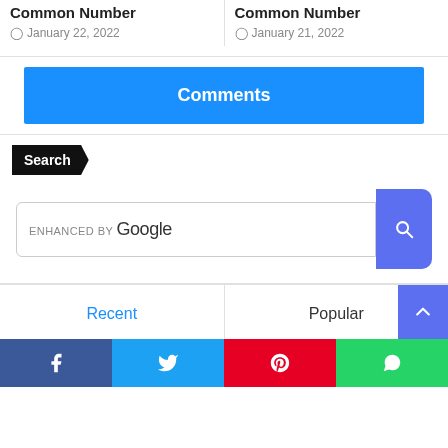Common Number
January 22, 2022
Common Number
January 21, 2022
Comments
Search
[Figure (screenshot): ENHANCED BY Google search bar with blue search button]
Recent
Popular
[Figure (infographic): Social share bar with Facebook, Twitter, Pinterest, WhatsApp buttons]